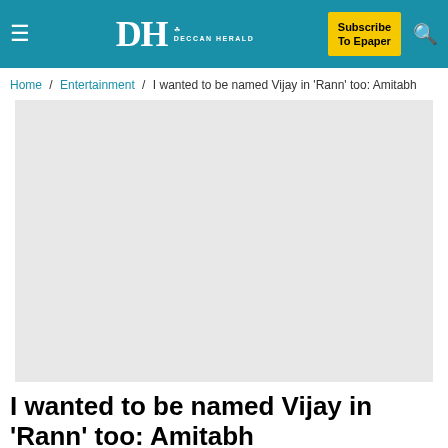Deccan Herald — Navigation bar with Subscribe To Epaper button
Home / Entertainment / I wanted to be named Vijay in 'Rann' too: Amitabh
[Figure (photo): Large image placeholder (light gray rectangle) for article photo]
I wanted to be named Vijay in 'Rann' too: Amitabh